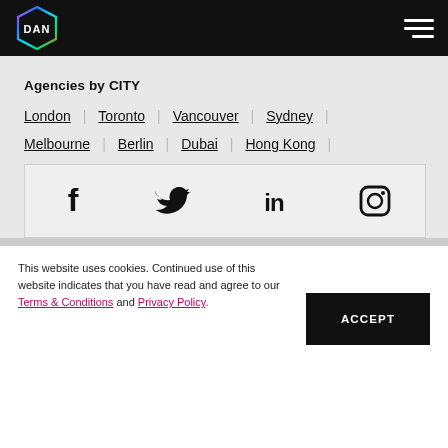DAN logo and navigation menu
Agencies by CITY
London | Toronto | Vancouver | Sydney |
Melbourne | Berlin | Dubai | Hong Kong |
[Figure (infographic): Social media icons row: Facebook, Twitter, LinkedIn, Instagram]
This website uses cookies. Continued use of this website indicates that you have read and agree to our Terms & Conditions and Privacy Policy.